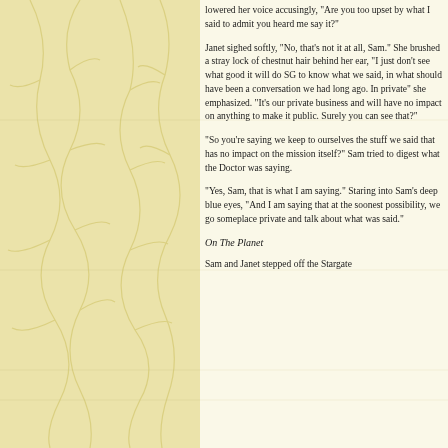lowered her voice accusingly, "Are you too upset by what I said to admit you heard me say it?"
Janet sighed softly, "No, that’s not it at all, Sam." She brushed a stray lock of chestnut hair behind her ear, "I just don’t see what good it will do SG to know what we said, in what should have been a conversation we had long ago. In private" she emphasized. "It’s our private business and will have no impact on anything to make it public. Surely you can see that?"
"So you’re saying we keep to ourselves the stuff we said that has no impact on the mission itself?" Sam tried to digest what the Doctor was saying.
"Yes, Sam, that is what I am saying." Staring into Sam’s deep blue eyes, "And I am saying that at the soonest possibility, we go someplace private and talk about what was said."
On The Planet
Sam and Janet stepped off the Stargate